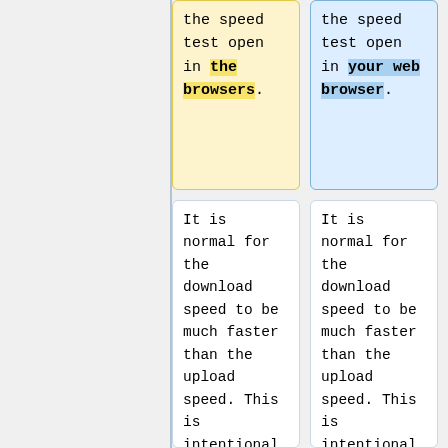the speed test open in the browsers.
the speed test open in your web browser.
It is normal for the download speed to be much faster than the upload speed. This is intentional, so that you are able to download big files quickly.
It is normal for the download speed to be much faster than the upload speed. This is intentional, so that you are able to download big files quickly.